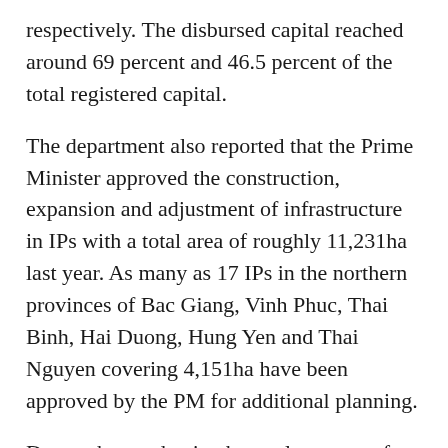respectively. The disbursed capital reached around 69 percent and 46.5 percent of the total registered capital.
The department also reported that the Prime Minister approved the construction, expansion and adjustment of infrastructure in IPs with a total area of roughly 11,231ha last year. As many as 17 IPs in the northern provinces of Bac Giang, Vinh Phuc, Thai Binh, Hai Duong, Hung Yen and Thai Nguyen covering 4,151ha have been approved by the PM for additional planning.
Due to the pandemic, the total revenue of IPs and economic zones neared 182 billion USD last year, down 27 percent year-on-year. They earned some 132 billion USD from exports, or 59 percent of the country’s total, down 11 percent annually, and contributed approximately 121 trillion VND to the State budget, down 7.5 percent.